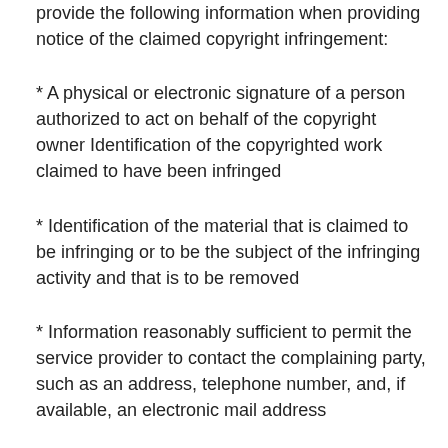provide the following information when providing notice of the claimed copyright infringement:
* A physical or electronic signature of a person authorized to act on behalf of the copyright owner Identification of the copyrighted work claimed to have been infringed
* Identification of the material that is claimed to be infringing or to be the subject of the infringing activity and that is to be removed
* Information reasonably sufficient to permit the service provider to contact the complaining party, such as an address, telephone number, and, if available, an electronic mail address